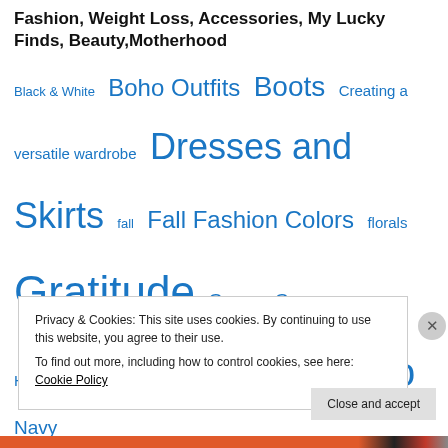Fashion, Weight Loss, Accessories, My Lucky Finds, Beauty,Motherhood
Black & White  Boho Outfits  Boots  Creating a versatile wardrobe  Dresses and Skirts  fall  Fall Fashion Colors  florals  Gratitude  Green  Grey  Homeschooling  Mom On the Go  Navy  Neutrals  Orange  Outfits with scarfs  Pattern Mixing  Petite  prints  Purple  shoes  skinny jeans  Spring Outfits  Summer
Privacy & Cookies: This site uses cookies. By continuing to use this website, you agree to their use.
To find out more, including how to control cookies, see here: Cookie Policy
Close and accept